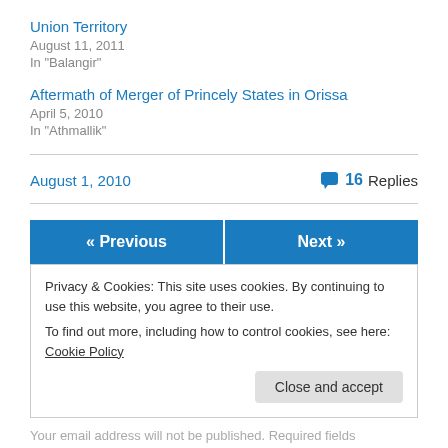Union Territory
August 11, 2011
In "Balangir"
Aftermath of Merger of Princely States in Orissa
April 5, 2010
In "Athmallik"
August 1, 2010
16 Replies
« Previous
Next »
Privacy & Cookies: This site uses cookies. By continuing to use this website, you agree to their use.
To find out more, including how to control cookies, see here: Cookie Policy
Close and accept
Your email address will not be published. Required fields